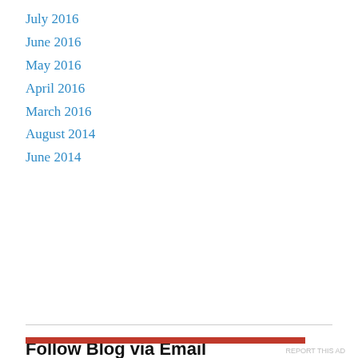July 2016
June 2016
May 2016
April 2016
March 2016
August 2014
June 2014
Follow Blog via Email
Enter your email address to follow this blog and receive notifications of new posts by email.
Privacy & Cookies: This site uses cookies. By continuing to use this website, you agree to their use.
To find out more, including how to control cookies, see here: Cookie Policy
Close and accept